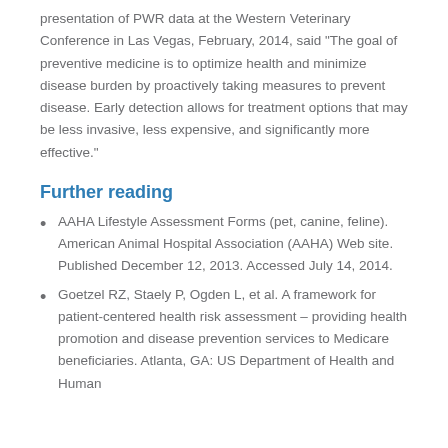presentation of PWR data at the Western Veterinary Conference in Las Vegas, February, 2014, said "The goal of preventive medicine is to optimize health and minimize disease burden by proactively taking measures to prevent disease. Early detection allows for treatment options that may be less invasive, less expensive, and significantly more effective."
Further reading
AAHA Lifestyle Assessment Forms (pet, canine, feline). American Animal Hospital Association (AAHA) Web site. Published December 12, 2013. Accessed July 14, 2014.
Goetzel RZ, Staely P, Ogden L, et al. A framework for patient-centered health risk assessment – providing health promotion and disease prevention services to Medicare beneficiaries. Atlanta, GA: US Department of Health and Human